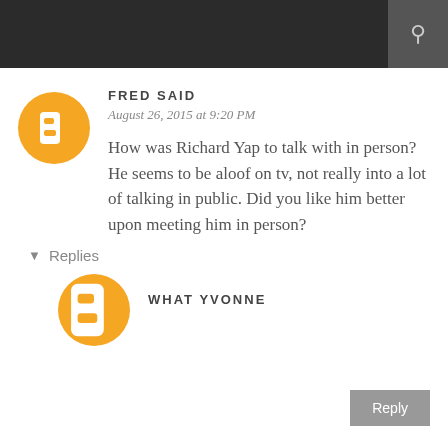FRED SAID
August 26, 2015 at 9:20 PM
How was Richard Yap to talk with in person? He seems to be aloof on tv, not really into a lot of talking in public. Did you like him better upon meeting him in person?
Reply
▾ Replies
WHAT YVONNE